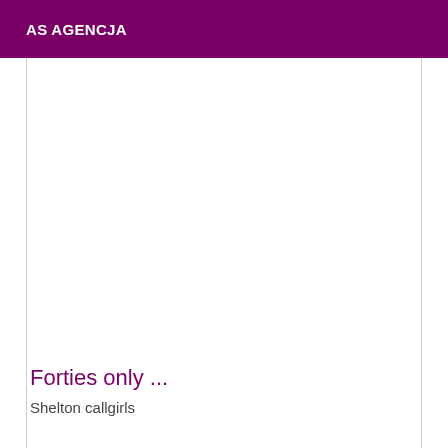AS AGENCJA
Forties only ...
Shelton callgirls